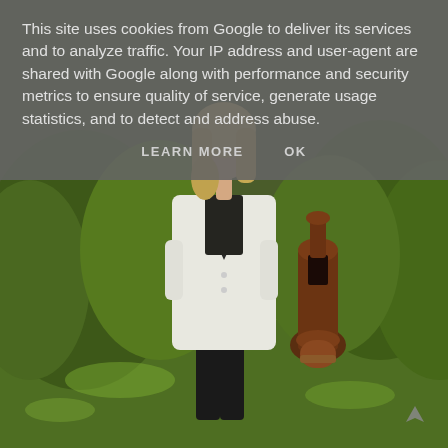This site uses cookies from Google to deliver its services and to analyze traffic. Your IP address and user-agent are shared with Google along with performance and security metrics to ensure quality of service, generate usage statistics, and to detect and address abuse.
LEARN MORE    OK
[Figure (photo): A blonde woman wearing a white blazer coat and black outfit stands on a green lawn in a garden setting. Behind her are green bushes and trees, and a dark brown clay chiminea/outdoor fireplace. She has one hand in her coat pocket and appears to be posing for the photo.]